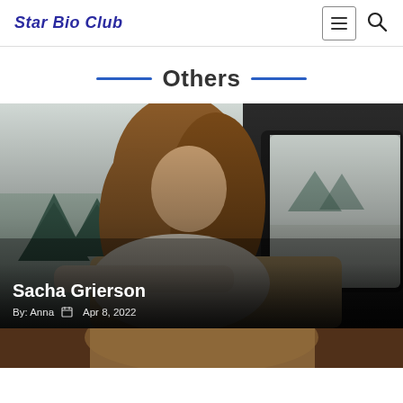Star Bio Club
Others
[Figure (photo): Woman with long brown hair sitting in a car, looking pensively out the window, with pine trees visible in the blurred background.]
Sacha Grierson
By: Anna   Apr 8, 2022
[Figure (photo): Partial view of another person at the bottom of the page, cropped.]